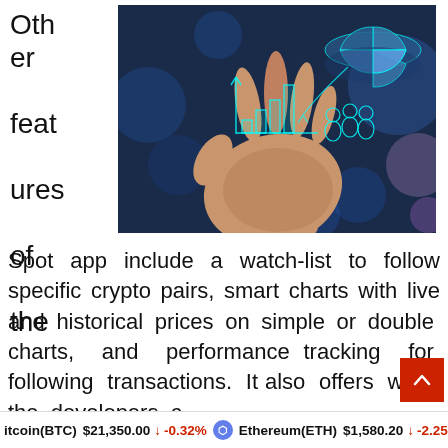Other features of the
[Figure (photo): A hand holding glowing digital finance chart icons including bar chart and pie chart on dark blue bokeh background]
Spot app include a watch-list to follow specific crypto pairs, smart charts with live and historical prices on simple or double charts, and performance tracking for following transactions. It also offers what the developers c
Bitcoin(BTC) $21,350.00 ↓ -0.32%   Ethereum(ETH) $1,580.20 ↓ -2.25%